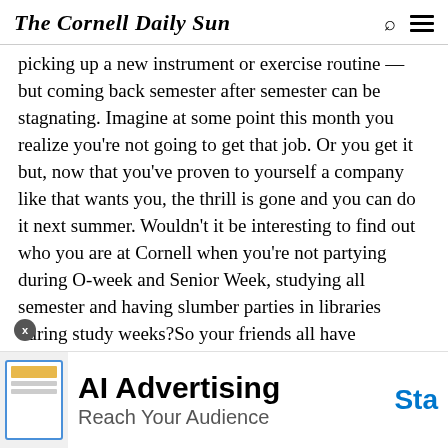The Cornell Daily Sun
picking up a new instrument or exercise routine — but coming back semester after semester can be stagnating. Imagine at some point this month you realize you're not going to get that job. Or you get it but, now that you've proven to yourself a company like that wants you, the thrill is gone and you can do it next summer. Wouldn't it be interesting to find out who you are at Cornell when you're not partying during O-week and Senior Week, studying all semester and having slumber parties in libraries during study weeks?So your friends all have somewhere to be. Remember Freshman year, when you figured out how to make friends again? Remember you'll
...life after college, when you'll be doing more of that?
[Figure (other): Advertisement banner: AI Advertising — Reach Your Audience. Start.]